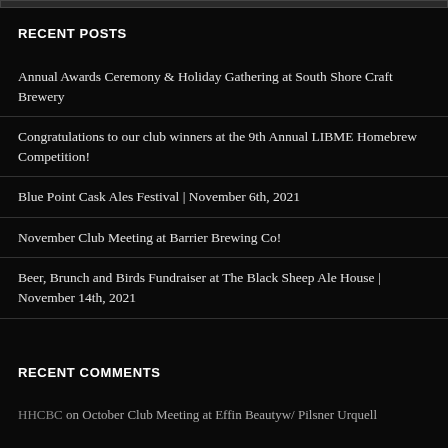RECENT POSTS
Annual Awards Ceremony & Holiday Gathering at South Shore Craft Brewery
Congratulations to our club winners at the 9th Annual LIBME Homebrew Competition!
Blue Point Cask Ales Festival | November 6th, 2021
November Club Meeting at Barrier Brewing Co!
Beer, Brunch and Birds Fundraiser at The Black Sheep Ale House | November 14th, 2021
RECENT COMMENTS
HHCBC on October Club Meeting at Effin Beautyw/ Pilsner Urquell